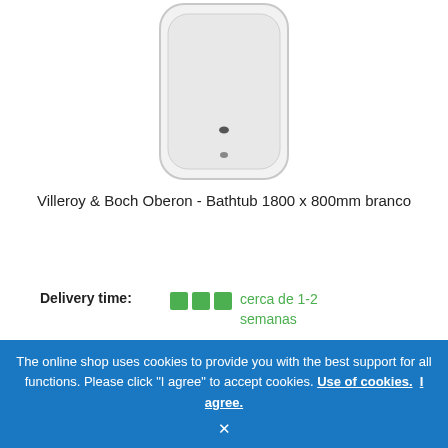[Figure (photo): White rectangular bathtub (Villeroy & Boch Oberon 1800x800mm) viewed from above, with rounded corners and a drain visible, shown in white/light gray.]
Villeroy & Boch Oberon - Bathtub 1800 x 800mm branco
Delivery time: cerca de 1-2 semanas
Article no.: UBQ180OBE2V-01
ADD TO CART
The online shop uses cookies to provide you with the best support for all functions. Please click "I agree" to accept cookies. Use of cookies. I agree. ×